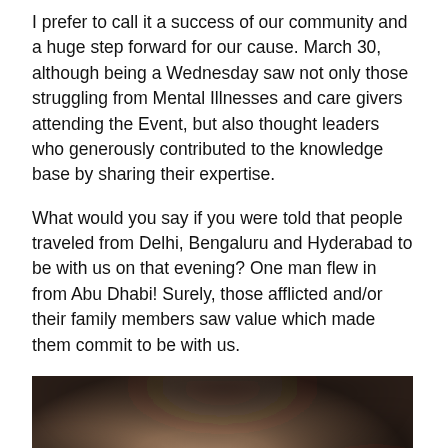I prefer to call it a success of our community and a huge step forward for our cause. March 30, although being a Wednesday saw not only those struggling from Mental Illnesses and care givers attending the Event, but also thought leaders who generously contributed to the knowledge base by sharing their expertise.
What would you say if you were told that people traveled from Delhi, Bengaluru and Hyderabad to be with us on that evening? One man flew in from Abu Dhabi!  Surely, those afflicted and/or their family members saw value which made them commit to be with us.
[Figure (photo): A blurred/out-of-focus photograph with warm brown and dark tones, appearing to show a gathering or event scene. A white circular scroll-to-top button is visible in the bottom-right corner.]